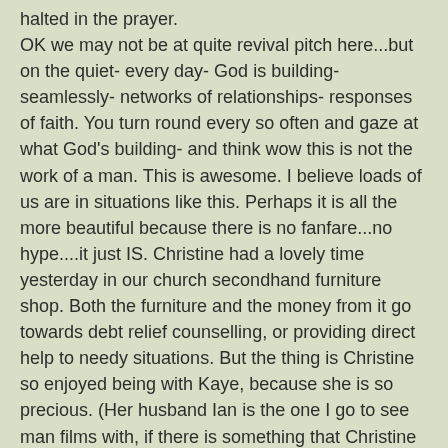halted in the prayer.
OK we may not be at quite revival pitch here...but on the quiet- every day- God is building-seamlessly- networks of relationships- responses of faith. You turn round every so often and gaze at what God's building- and think wow this is not the work of a man. This is awesome. I believe loads of us are in situations like this. Perhaps it is all the more beautiful because there is no fanfare...no hype....it just IS. Christine had a lovely time yesterday in our church secondhand furniture shop. Both the furniture and the money from it go towards debt relief counselling, or providing direct help to needy situations. But the thing is Christine so enjoyed being with Kaye, because she is so precious. (Her husband Ian is the one I go to see man films with, if there is something that Christine does not want to see.)
What the devil does not tell us about when enticing us to sin, is what we miss out on by not being available for the "syn" life. The truth is Life,Christs's life in us, does not live "unto itself". It's meshed in with this glorious Bride that is being prepared, this Body that is being built.People that are being